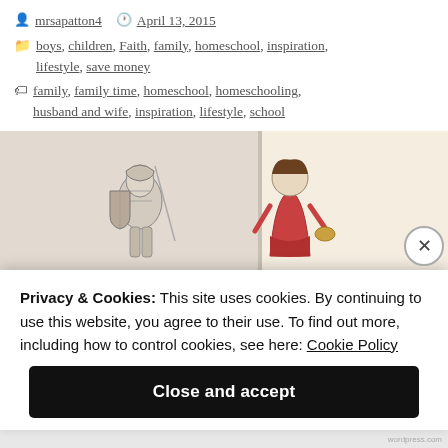mrsapatton4  April 13, 2015
boys, children, Faith, family, homeschool, inspiration, lifestyle, save money
family, family time, homeschool, homeschooling, husband and wife, inspiration, lifestyle, school
[Figure (photo): Children's illustrated artworks or drawings displayed on a wall, sketched figures in medieval/storybook style, warm beige background wall]
Privacy & Cookies: This site uses cookies. By continuing to use this website, you agree to their use. To find out more, including how to control cookies, see here: Cookie Policy
Close and accept